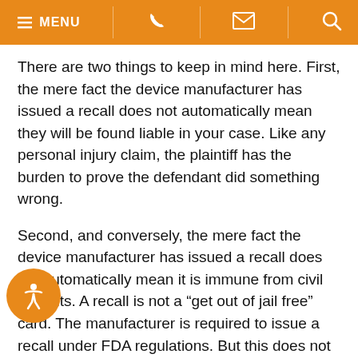MENU
There are two things to keep in mind here. First, the mere fact the device manufacturer has issued a recall does not automatically mean they will be found liable in your case. Like any personal injury claim, the plaintiff has the burden to prove the defendant did something wrong.
Second, and conversely, the mere fact the device manufacturer has issued a recall does not automatically mean it is immune from civil lawsuits. A recall is not a “get out of jail free” card. The manufacturer is required to issue a recall under FDA regulations. But this does not prevent individual patients or their families from taking separate legal action under state law.
In any case, if you need to speak with someone about